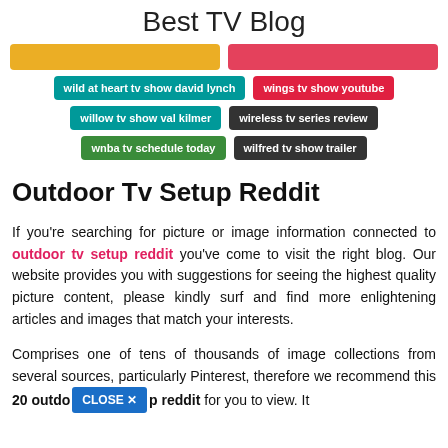Best TV Blog
wild at heart tv show david lynch
wings tv show youtube
willow tv show val kilmer
wireless tv series review
wnba tv schedule today
wilfred tv show trailer
Outdoor Tv Setup Reddit
If you're searching for picture or image information connected to outdoor tv setup reddit you've come to visit the right blog. Our website provides you with suggestions for seeing the highest quality picture content, please kindly surf and find more enlightening articles and images that match your interests.
Comprises one of tens of thousands of image collections from several sources, particularly Pinterest, therefore we recommend this 20 outdoor tv setup reddit for you to view. It